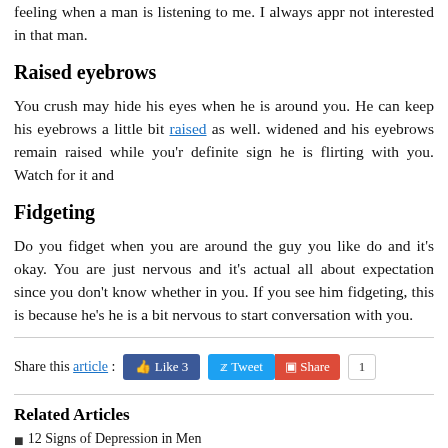feeling when a man is listening to me. I always appr not interested in that man.
Raised eyebrows
You crush may hide his eyes when he is around you. He can keep his eyebrows a little bit raised as well. widened and his eyebrows remain raised while you'r definite sign he is flirting with you. Watch for it and
Fidgeting
Do you fidget when you are around the guy you like do and it's okay. You are just nervous and it's actual all about expectation since you don't know whether in you. If you see him fidgeting, this is because he's he is a bit nervous to start conversation with you.
Share this article : Like 3 Tweet Share 1
Related Articles
12 Signs of Depression in Men